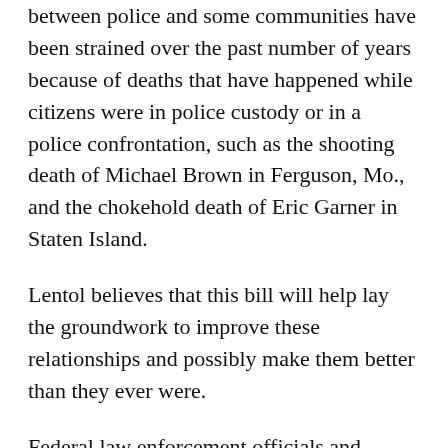between police and some communities have been strained over the past number of years because of deaths that have happened while citizens were in police custody or in a police confrontation, such as the shooting death of Michael Brown in Ferguson, Mo., and the chokehold death of Eric Garner in Staten Island.
Lentol believes that this bill will help lay the groundwork to improve these relationships and possibly make them better than they ever were.
Federal law enforcement officials and criminal justice experts acknowledge there is a void in the data that would help explain the impact of policing activity in certain communities. There is currently no federal or state requirement to ensure such data is collected and publicly reported, meaning there is